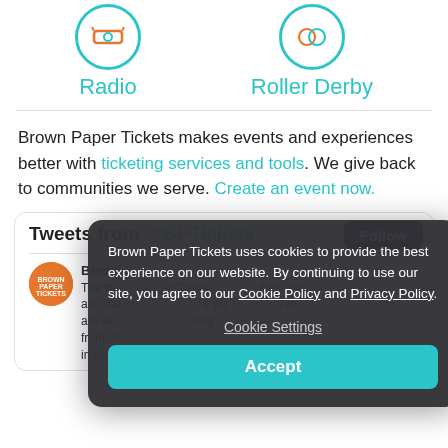[Figure (illustration): Two circular teal-bordered icons: left labeled Radio, right labeled Roller Derby]
Brown Paper Tickets makes events and experiences better with ticketing services and tools. We give back to communities we serve. Create an event now.
Tweets from @BPTickets
[Figure (logo): Brown Paper Tickets circular logo in orange]
Brown Paper Tickets
The Brown Paper Tickets... The technical issues... We are working hard to offer... messages from those impacted... the impact this has caused and appreciate your
Brown Paper Tickets uses cookies to provide the best experience on our website. By continuing to use our site, you agree to our Cookie Policy and Privacy Policy.
Cookie Settings
Accept